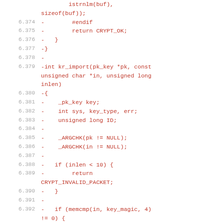Code diff showing removed lines (prefixed with -) from a C source file, lines 6.374 to 6.395, including functions kr_import with parameters pk_key *pk, const unsigned char *in, unsigned long inlen, variable declarations, argument checks, and conditional logic.